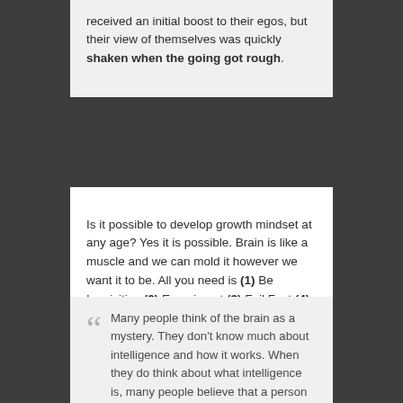received an initial boost to their egos, but their view of themselves was quickly shaken when the going got rough.
Is it possible to develop growth mindset at any age? Yes it is possible. Brain is like a muscle and we can mold it however we want it to be. All you need is (1) Be Inquisitive (2) Experiment (3) Fail Fast (4) Learn from failures (5) Repeat.
Many people think of the brain as a mystery. They don't know much about intelligence and how it works. When they do think about what intelligence is, many people believe that a person is born either smart, average or dumb – and stays that way for life. But new research shows that the brain is like a muscle – it changes and gets stronger